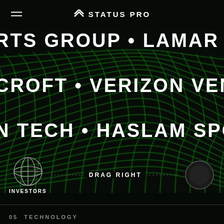STATUS PRO
[Figure (illustration): 3D green wireframe grid mesh forming a wave/bump landscape shape on dark background, with scrolling text overlaid showing investor names: RTS GROUP, LAMAR JACKSON, CROFT, VERIZON VENTURES, N TECH, HASLAM SPORTS]
INVESTORS
DRAG RIGHT
05  TECHNOLOGY